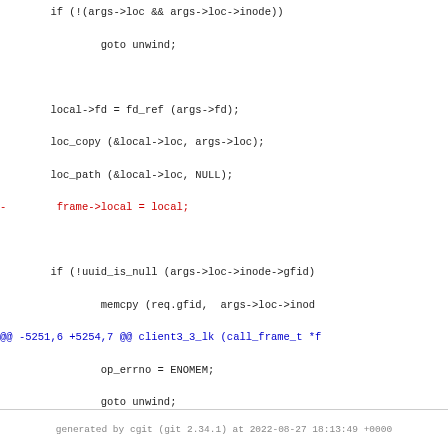if (!(args->loc && args->loc->inode))
        goto unwind;

        local->fd = fd_ref (args->fd);
        loc_copy (&local->loc, args->loc);
        loc_path (&local->loc, NULL);
-        frame->local = local;

        if (!uuid_is_null (args->loc->inode->gfid)
                memcpy (req.gfid,  args->loc->inod
@@ -5251,6 +5254,7 @@ client3_3_lk (call_frame_t *f
                op_errno = ENOMEM;
                goto unwind;
        }
+        frame->local = local;

        CLIENT_GET_REMOTE_FD (this, args->fd, DEFA
                              remote_fd, op_errno,
@@ -5278,7 +5282,6 @@ client3_3_lk (call_frame_t *f
        local->owner = frame->root->lk_owner;
        local->cmd   = args->cmd;
        local->fd    = fd_ref (args->fd);
-        frame->local = local;

        req.fd    = remote_fd;
        req.cmd   = gf_cmd;
generated by cgit (git 2.34.1) at 2022-08-27 18:13:49 +0000